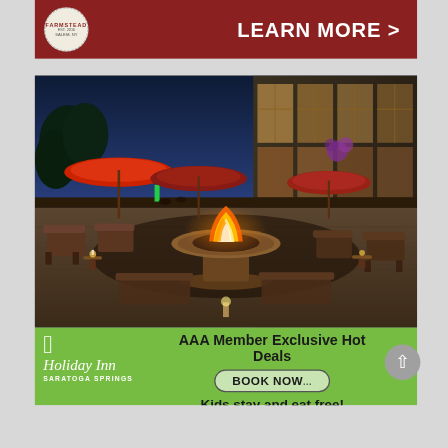[Figure (advertisement): Farmstead advertisement banner with red background, circular dashed logo reading FARMSTEAD EST. 2016 SALEM, NY, and LEARN MORE > button in white text]
[Figure (photo): Outdoor hotel patio photo at dusk/evening showing a circular fire pit table with flames, surrounded by lounge chairs, red/orange patio umbrellas, and a hotel building with large illuminated windows in the background]
[Figure (advertisement): Holiday Inn Saratoga Springs advertisement with green background, Holiday Inn cursive logo on left, and text AAA Member Exclusive Hot Deals, BOOK NOW button, Kids stay and eat free! on right, with a grey circular up-arrow button]